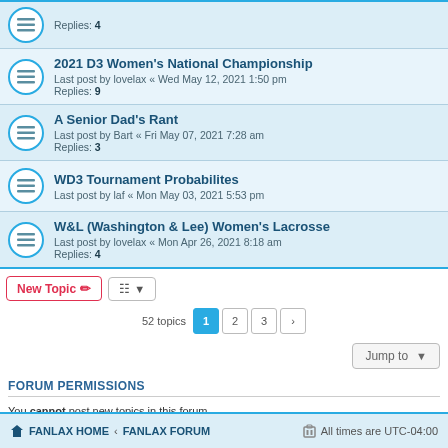Replies: 4
2021 D3 Women's National Championship — Last post by lovelax « Wed May 12, 2021 1:50 pm — Replies: 9
A Senior Dad's Rant — Last post by Bart « Fri May 07, 2021 7:28 am — Replies: 3
WD3 Tournament Probabilites — Last post by laf « Mon May 03, 2021 5:53 pm
W&L (Washington & Lee) Women's Lacrosse — Last post by lovelax « Mon Apr 26, 2021 8:18 am — Replies: 4
52 topics  1  2  3  >
Jump to
FORUM PERMISSIONS
You cannot post new topics in this forum
You cannot reply to topics in this forum
You cannot edit your posts in this forum
You cannot delete your posts in this forum
You cannot post attachments in this forum
FANLAX HOME  «  FANLAX FORUM  |  All times are UTC-04:00